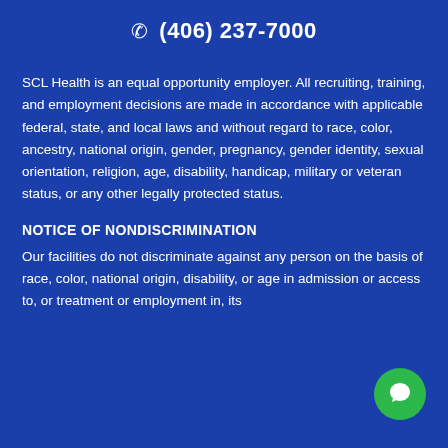☎ (406) 237-7000
SCL Health is an equal opportunity employer. All recruiting, training, and employment decisions are made in accordance with applicable federal, state, and local laws and without regard to race, color, ancestry, national origin, gender, pregnancy, gender identity, sexual orientation, religion, age, disability, handicap, military or veteran status, or any other legally protected status.
NOTICE OF NONDISCRIMINATION
Our facilities do not discriminate against any person on the basis of race, color, national origin, disability, or age in admission or access to, or treatment or employment in, its programs, activities, or on the basis of any other legally